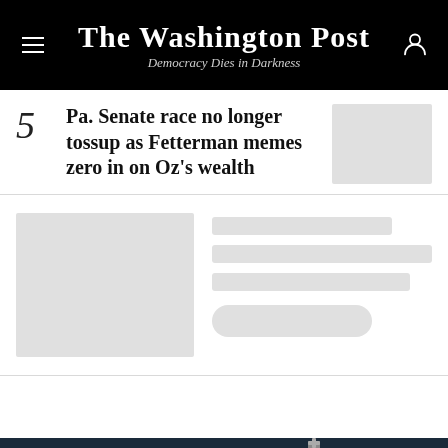The Washington Post — Democracy Dies in Darkness
Pa. Senate race no longer tossup as Fetterman memes zero in on Oz's wealth
[Figure (other): Loading skeleton with placeholder image and text lines]
[Figure (photo): Altria advertisement banner — Moving beyond smoking — SEE HOW]